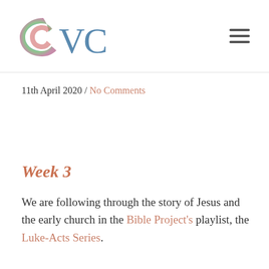[Figure (logo): CVC church logo with colorful swirl 'C' and blue 'VC' text]
11th April 2020 / No Comments
Week 3
We are following through the story of Jesus and the early church in the Bible Project's playlist, the Luke-Acts Series.